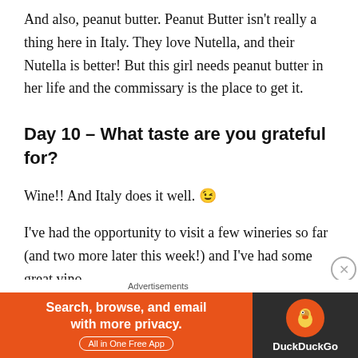And also, peanut butter. Peanut Butter isn't really a thing here in Italy. They love Nutella, and their Nutella is better! But this girl needs peanut butter in her life and the commissary is the place to get it.
Day 10 – What taste are you grateful for?
Wine!! And Italy does it well. 😉
I've had the opportunity to visit a few wineries so far (and two more later this week!) and I've had some great vino.
[Figure (other): DuckDuckGo advertisement banner: orange left panel with text 'Search, browse, and email with more privacy. All in One Free App' and dark right panel with DuckDuckGo logo and name.]